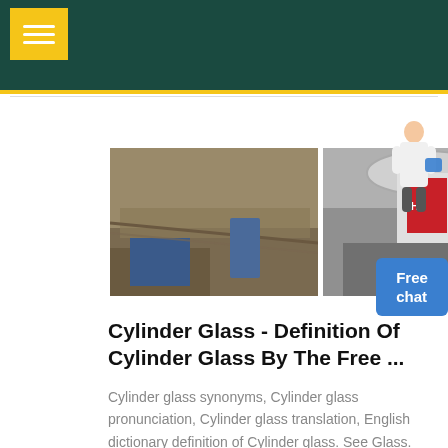Navigation header with menu button
[Figure (photo): Three industrial machinery photos side by side: conveyor belt/mining equipment, industrial mixer/crusher machine with red branding, and cylindrical industrial rollers. A chat assistant figure with 'Free chat' button on the right.]
Cylinder Glass - Definition Of Cylinder Glass By The Free ...
Cylinder glass synonyms, Cylinder glass pronunciation, Cylinder glass translation, English dictionary definition of Cylinder glass. See Glass. sheet glass made by blowing the glass in the form of a cylinder which is then split longitudinally, opened out, and flattened. See also:...